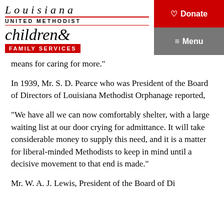Louisiana United Methodist children& Family Services | Donate | Menu
means for caring for more."
In 1939, Mr. S. D. Pearce who was President of the Board of Directors of Louisiana Methodist Orphanage reported,
"We have all we can now comfortably shelter, with a large waiting list at our door crying for admittance. It will take considerable money to supply this need, and it is a matter for liberal-minded Methodists to keep in mind until a decisive movement to that end is made."
Mr. W. A. J. Lewis, President of the Board of Directors, reported in 1872...